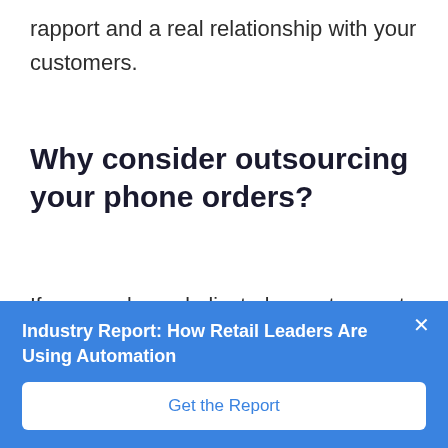rapport and a real relationship with your customers.
Why consider outsourcing your phone orders?
If you can have dedicated, remote agents focusing on upselling complimentary items such as drinks, desserts, and appetizers, it can dramatically increase your profits
Industry Report: How Retail Leaders Are Using Automation
Get the Report